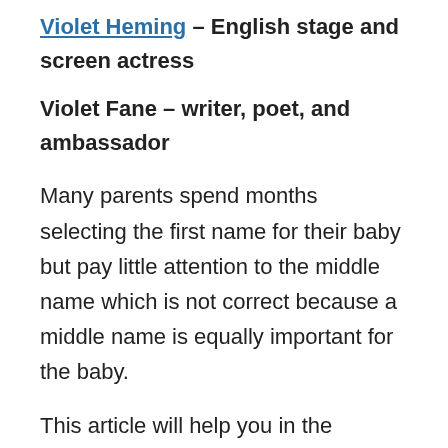Violet Heming – English stage and screen actress
Violet Fane – writer, poet, and ambassador
Many parents spend months selecting the first name for their baby but pay little attention to the middle name which is not correct because a middle name is equally important for the baby.
This article will help you in the selection of the best middle name for your baby. It will save the time of your search and bring many new ideas to your